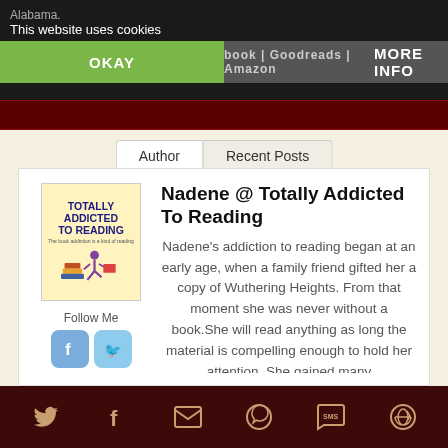Alabama.
This website uses cookies
book | Goodreads | Amazon
OKAY
MORE INFO
Author
Recent Posts
Nadene @ Totally Addicted To Reading
[Figure (logo): Book cover logo for Totally Addicted To Reading website, showing a person reading with stacked books, purple/maroon illustration.]
Follow Me
Nadene's addiction to reading began at an early age, when a family friend gifted her a copy of Wuthering Heights. From that moment she was never without a book.She will read anything as long the material is compelling enough to hold her attention. She gained many
Twitter | Facebook | Email | WhatsApp | SMS | Other social